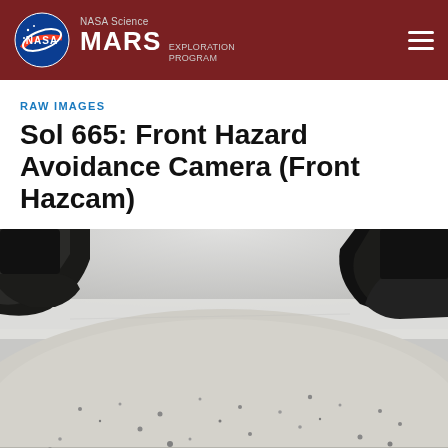NASA Science MARS EXPLORATION PROGRAM
RAW IMAGES
Sol 665: Front Hazard Avoidance Camera (Front Hazcam)
[Figure (photo): Black and white fisheye image from the Front Hazard Avoidance Camera (Front Hazcam) on the Mars Curiosity rover, Sol 665. Shows the Martian surface with rounded terrain, small rocks, and parts of the rover's body visible in upper left and upper right corners against a hazy sky.]